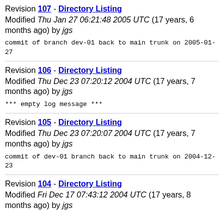Revision 107 - Directory Listing
Modified Thu Jan 27 06:21:48 2005 UTC (17 years, 6 months ago) by jgs
commit of branch dev-01 back to main trunk on 2005-01-27
Revision 106 - Directory Listing
Modified Thu Dec 23 07:20:12 2004 UTC (17 years, 7 months ago) by jgs
*** empty log message ***
Revision 105 - Directory Listing
Modified Thu Dec 23 07:20:07 2004 UTC (17 years, 7 months ago) by jgs
commit of dev-01 branch back to main trunk on 2004-12-23
Revision 104 - Directory Listing
Modified Fri Dec 17 07:43:12 2004 UTC (17 years, 8 months ago) by jgs